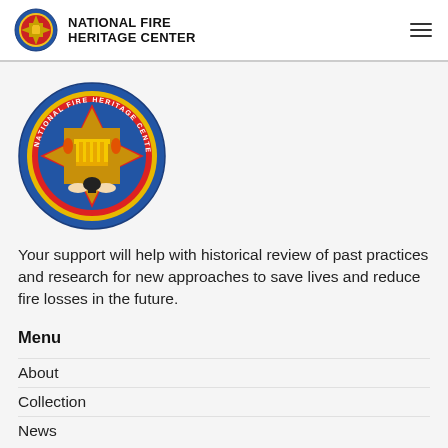NATIONAL FIRE HERITAGE CENTER
[Figure (logo): National Fire Heritage Center circular seal logo with blue border, red Maltese cross, gold building/pillars, text 'NATIONAL FIRE HERITAGE CENTER' around edge, bell and hands at bottom]
Your support will help with historical review of past practices and research for new approaches to save lives and reduce fire losses in the future.
Menu
About
Collection
News